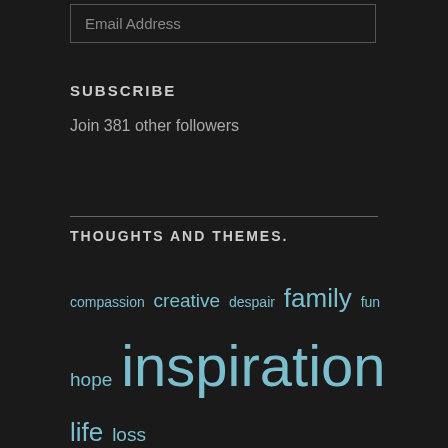Email Address
SUBSCRIBE
Join 381 other followers
THOUGHTS AND THEMES.
compassion creative despair family fun hope inspiration life loss Love nature optimism poems